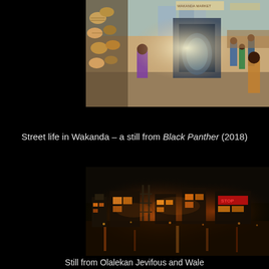[Figure (photo): A busy street market scene in Wakanda from the film Black Panther (2018). Colorful baskets hang on the left, people walk through a marketplace corridor with futuristic and traditional architecture, warm sunlight in the background.]
Street life in Wakanda – a still from Black Panther (2018)
[Figure (photo): A nighttime industrial or futuristic cityscape scene with warm orange and amber lights reflecting on water or a wet surface. Structures and machinery silhouetted against a dark sky.]
Still from Olalekan Jevifous and Wale